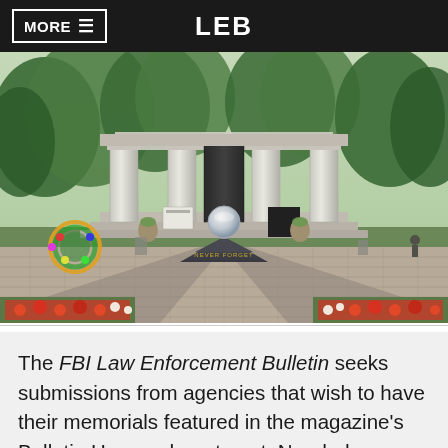MORE ≡   LEB
[Figure (photo): Connecticut Police Memorial monument — a granite columned structure with the inscription 'CONNECTICUT POLICE MEMORIAL' across the top, flanked by lush green trees. A globe lamp stands on a pyramid base in the foreground on a brick plaza. Flower plantings and a wreath are visible on the sides.]
The FBI Law Enforcement Bulletin seeks submissions from agencies that wish to have their memorials featured in the magazine's Bulletin Honors department. Needed materials include a short description, a photograph, and